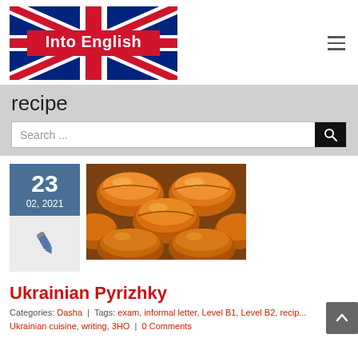[Figure (logo): Into English logo with UK flag background and red banner]
recipe
[Figure (screenshot): Search input field with magnifying glass button]
[Figure (photo): Date block showing 23, 02, 2021 in blue with pen icon below, beside photo of golden baked Ukrainian Pyrizhky rolls on a tray]
Ukrainian Pyrizhky
Categories: Dasha | Tags: exam, informal letter, Level B1, Level B2, recipe, Ukrainian cuisine, writing, 3HO | 0 Comments